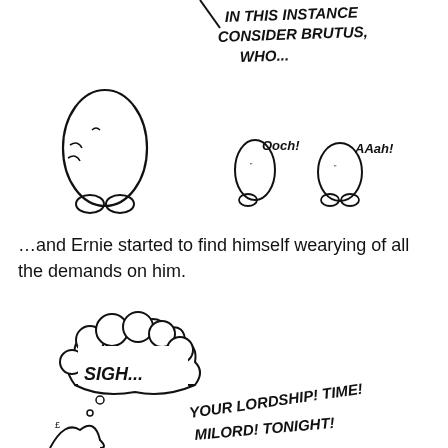[Figure (illustration): Hand-drawn cartoon: a speech bubble line pointing from off-panel with handwritten text 'IN THIS INSTANCE CONSIDER BRUTUS, WHO...' A large blob character stands on the left, and two smaller blob characters in the middle-right area exclaim 'Ooch!' and 'AAah!' respectively.]
…and Ernie started to find himself wearying of all the demands on him.
[Figure (illustration): Hand-drawn cartoon: a thought cloud containing 'SIGH...' with small bubbles below it, and a blob character at bottom-left. On the right, handwritten text reads 'YOUR LORDSHIP! TIME! MILORD! TONIGHT!']